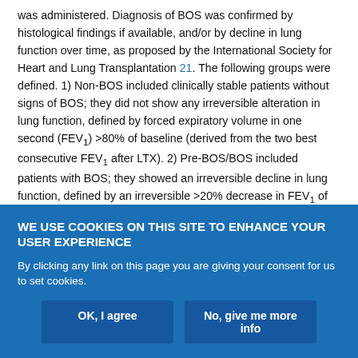was administered. Diagnosis of BOS was confirmed by histological findings if available, and/or by decline in lung function over time, as proposed by the International Society for Heart and Lung Transplantation 21. The following groups were defined. 1) Non-BOS included clinically stable patients without signs of BOS; they did not show any irreversible alteration in lung function, defined by forced expiratory volume in one second (FEV₁) >80% of baseline (derived from the two best consecutive FEV₁ after LTX). 2) Pre-BOS/BOS included patients with BOS; they showed an irreversible decline in lung function, defined by an irreversible >20% decrease in FEV₁ of baseline during the course of the study, and/or confirmation by
WE USE COOKIES ON THIS SITE TO ENHANCE YOUR USER EXPERIENCE
By clicking any link on this page you are giving your consent for us to set cookies.